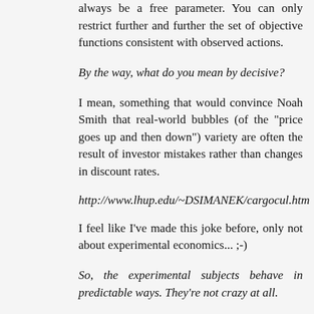always be a free parameter. You can only restrict further and further the set of objective functions consistent with observed actions.
By the way, what do you mean by decisive?
I mean, something that would convince Noah Smith that real-world bubbles (of the "price goes up and then down") variety are often the result of investor mistakes rather than changes in discount rates.
http://www.lhup.edu/~DSIMANEK/cargocul.htm
I feel like I've made this joke before, only not about experimental economics... ;-)
So, the experimental subjects behave in predictable ways. They're not crazy at all.
Predictable in a lab doesn't mean predictable in the real world, even if the behaviors are one and the same in both domains. For example, suppose